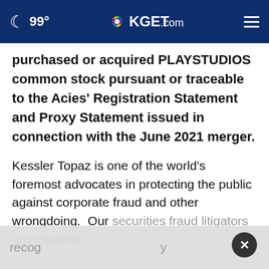99° KGET.com
purchased or acquired PLAYSTUDIOS common stock pursuant or traceable to the Acies' Registration Statement and Proxy Statement issued in connection with the June 2021 merger.
Kessler Topaz is one of the world's foremost advocates in protecting the public against corporate fraud and other wrongdoing.  Our securities fraud litigators are regularly recog[nized b]y and our firm is both feared and respected